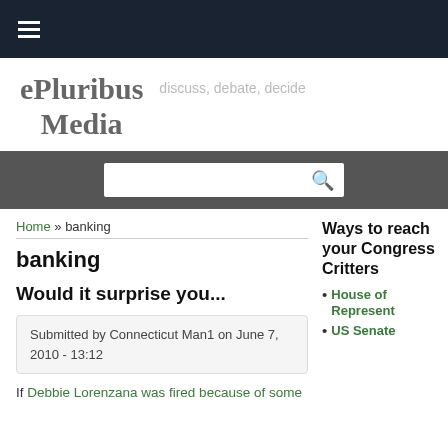≡ (navigation hamburger menu)
ePluribus Media
discuss, debate, decide
[Figure (other): Search bar with magnifying glass icon]
Home » banking
banking
Would it surprise you...
Submitted by Connecticut Man1 on June 7, 2010 - 13:12
If Debbie Lorenzana was fired because of some
Ways to reach your Congress Critters
House of Represent
US Senate